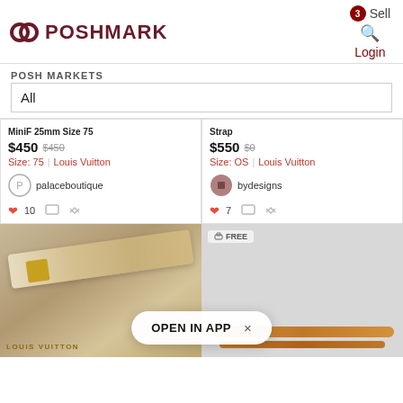POSHMARK
Sell
Login
POSH MARKETS
All
MiniF 25mm Size 75
$450  $450
Size: 75  |  Louis Vuitton
palaceboutique
♥ 10
Strap
$550  $0
Size: OS  |  Louis Vuitton
bydesigns
♥ 7
[Figure (photo): Louis Vuitton white monogram belt with gold buckle on yellow dustbag, text LOUIS VUITTON]
[Figure (photo): Tan leather Louis Vuitton strap on light gray background with FREE shipping badge]
OPEN IN APP  ×